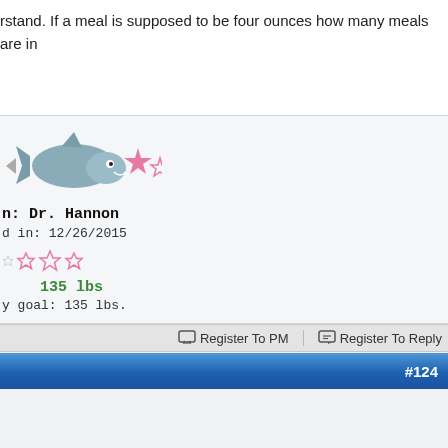rstand. If a meal is supposed to be four ounces how many meals are in
[Figure (illustration): Cartoon shark avatar with pink stars]
n: Dr. Hannon
d in: 12/26/2015
135 lbs
y goal: 135 lbs.
Register To PM   Register To Reply
#124